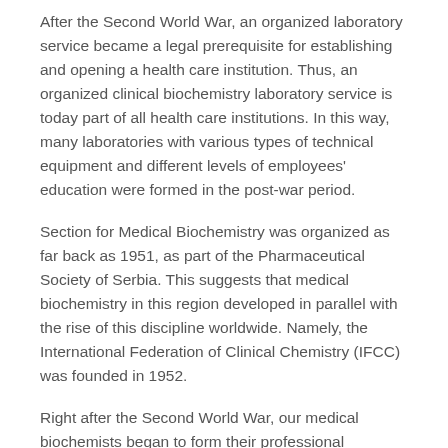After the Second World War, an organized laboratory service became a legal prerequisite for establishing and opening a health care institution. Thus, an organized clinical biochemistry laboratory service is today part of all health care institutions. In this way, many laboratories with various types of technical equipment and different levels of employees' education were formed in the post-war period.
Section for Medical Biochemistry was organized as far back as 1951, as part of the Pharmaceutical Society of Serbia. This suggests that medical biochemistry in this region developed in parallel with the rise of this discipline worldwide. Namely, the International Federation of Clinical Chemistry (IFCC) was founded in 1952.
Right after the Second World War, our medical biochemists began to form their professional societies. Even before 1950, laboratory experts would